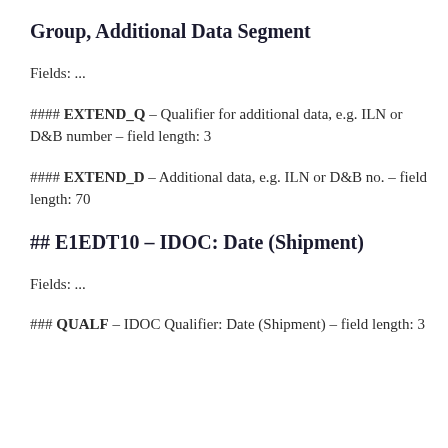Group, Additional Data Segment
Fields: ...
#### EXTEND_Q – Qualifier for additional data, e.g. ILN or D&B number – field length: 3
#### EXTEND_D – Additional data, e.g. ILN or D&B no. – field length: 70
## E1EDT10 – IDOC: Date (Shipment)
Fields: ...
### QUALF – IDOC Qualifier: Date (Shipment) – field length: 3